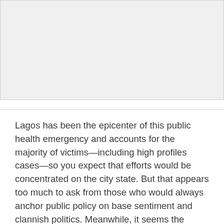[Figure (other): Image placeholder area at top of page]
Lagos has been the epicenter of this public health emergency and accounts for the majority of victims—including high profiles cases—so you expect that efforts would be concentrated on the city state. But that appears too much to ask from those who would always anchor public policy on base sentiment and clannish politics. Meanwhile, it seems the vaccination process has more to do with procurement than the pressing challenge of public health. In a recent interview on Channels Television, Kogi State